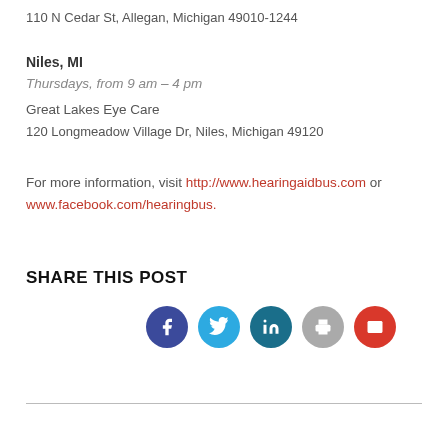110 N Cedar St, Allegan, Michigan 49010-1244
Niles, MI
Thursdays, from 9 am – 4 pm
Great Lakes Eye Care
120 Longmeadow Village Dr, Niles, Michigan 49120
For more information, visit http://www.hearingaidbus.com or www.facebook.com/hearingbus.
SHARE THIS POST
[Figure (infographic): Row of five social media share icon circles: Facebook (dark blue), Twitter (light blue), LinkedIn (teal), Print (gray), Email (red)]